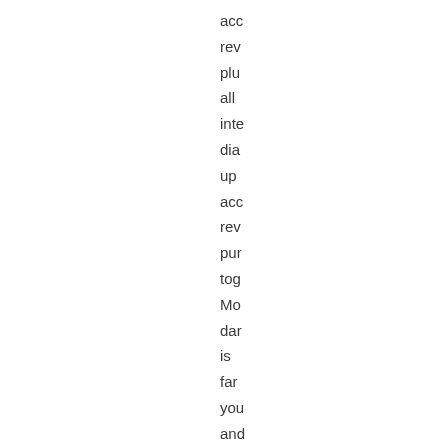acc
rev
plu
all
inte
dia
up
acc
rev
pur
tog
Mo
dar
is
far
you
and